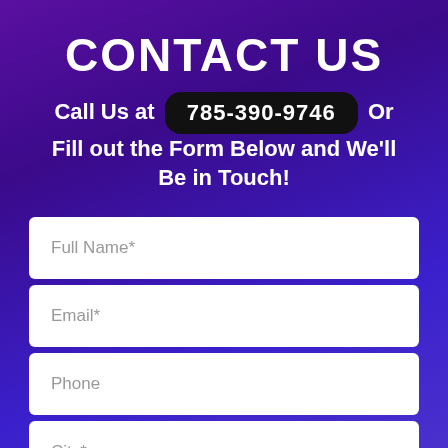CONTACT US
Call Us at 785-390-9746 Or Fill out the Form Below and We’ll Be in Touch!
Full Name*
Email*
Phone
City*